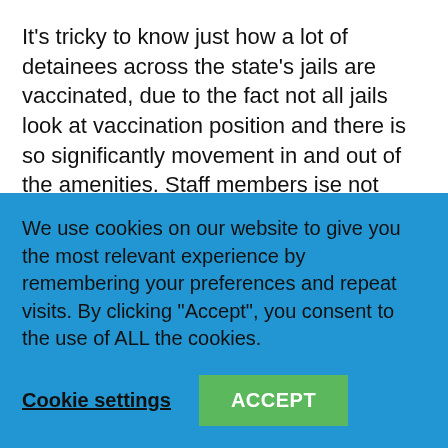It's tricky to know just how a lot of detainees across the state's jails are vaccinated, due to the fact not all jails look at vaccination position and there is so significantly movement in and out of the amenities. Staff members ise not required to get the vaccine both, but both of those Alamance and Johnston County jails call for employees to be masked up at all times.
Alamance County Sheriff Terry Johnson said the
We use cookies on our website to give you the most relevant experience by remembering your preferences and repeat visits. By clicking "Accept", you consent to the use of ALL the cookies.
Cookie settings
ACCEPT